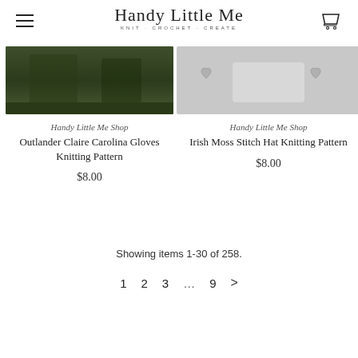Handy Little Me — KNIT · CROCHET · CREATE
[Figure (photo): Product image for Outlander Claire Carolina Gloves Knitting Pattern — dark green outdoor/nature photo]
Handy Little Me Shop
Outlander Claire Carolina Gloves Knitting Pattern
$8.00
[Figure (photo): Product image for Irish Moss Stitch Hat Knitting Pattern — light gray background with heart icons]
Handy Little Me Shop
Irish Moss Stitch Hat Knitting Pattern
$8.00
Showing items 1-30 of 258.
1  2  3  …  9  >